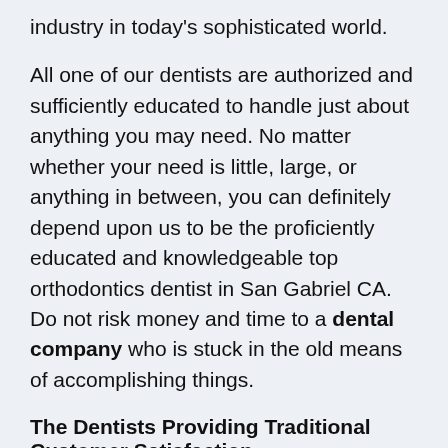industry in today's sophisticated world.
All one of our dentists are authorized and sufficiently educated to handle just about anything you may need. No matter whether your need is little, large, or anything in between, you can definitely depend upon us to be the proficiently educated and knowledgeable top orthodontics dentist in San Gabriel CA. Do not risk money and time to a dental company who is stuck in the old means of accomplishing things.
The Dentists Providing Traditional Customer Satisfaction
With